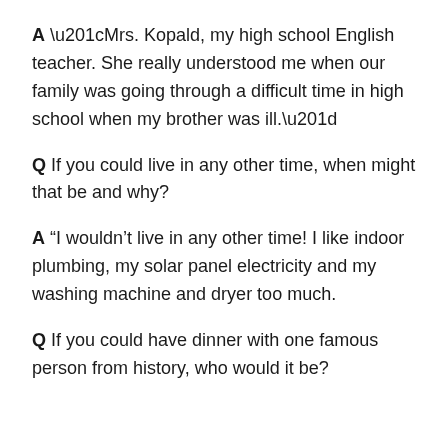A “Mrs. Kopald, my high school English teacher. She really understood me when our family was going through a difficult time in high school when my brother was ill.”
Q If you could live in any other time, when might that be and why?
A “I wouldn’t live in any other time! I like indoor plumbing, my solar panel electricity and my washing machine and dryer too much.
Q If you could have dinner with one famous person from history, who would it be?